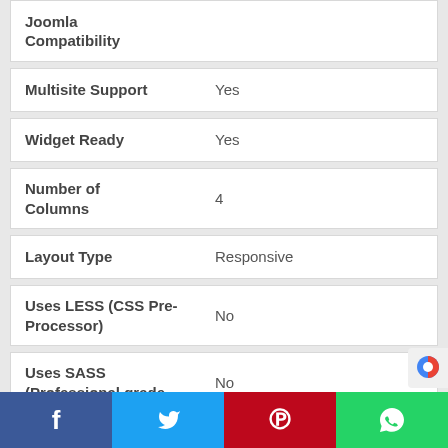| Feature | Value |
| --- | --- |
| Joomla Compatibility |  |
| Multisite Support | Yes |
| Widget Ready | Yes |
| Number of Columns | 4 |
| Layout Type | Responsive |
| Uses LESS (CSS Pre-Processor) | No |
| Uses SASS (Professional grade | No |
Facebook  Twitter  Pinterest  WhatsApp